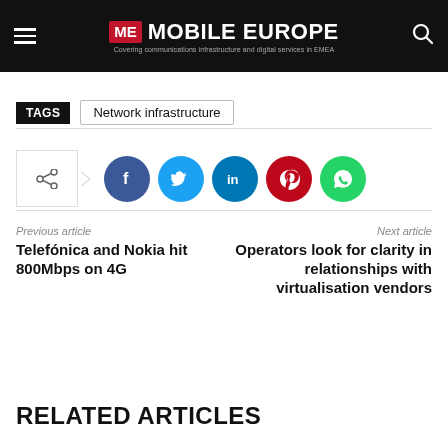ME MOBILE EUROPE — Covering communications infrastructure and digital services in EMEA
TAGS  Network infrastructure
[Figure (infographic): Share button with arrow and social media icons: Facebook (blue), Twitter (cyan), LinkedIn (dark blue), Pinterest (red), WhatsApp (green)]
Previous article
Telefónica and Nokia hit 800Mbps on 4G
Next article
Operators look for clarity in relationships with virtualisation vendors
RELATED ARTICLES